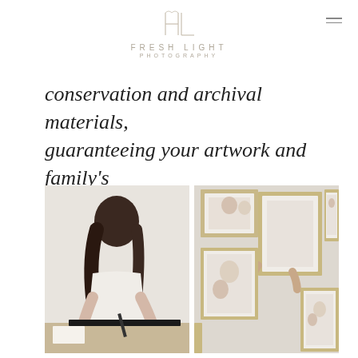FRESH LIGHT PHOTOGRAPHY
conservation and archival materials, guaranteeing your artwork and family's memories for a lifetime.
[Figure (photo): Two side-by-side photos: left shows a woman with dark curly hair leaning over a table working with framing materials using a tool; right shows hands hanging framed family photos on a wall with a gallery wall arrangement.]